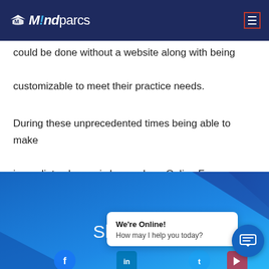mindparcs
could be done without a website along with being customizable to meet their practice needs.
During these unprecedented times being able to make immediate change is key and our Online Forms Options gave the practice the ability to make swift changes.
[Figure (screenshot): Share section with blue gradient background showing social media icons (Facebook, LinkedIn, Twitter) and a 'We're Online! How may I help you today?' chat bubble overlay with a blue chat circle button]